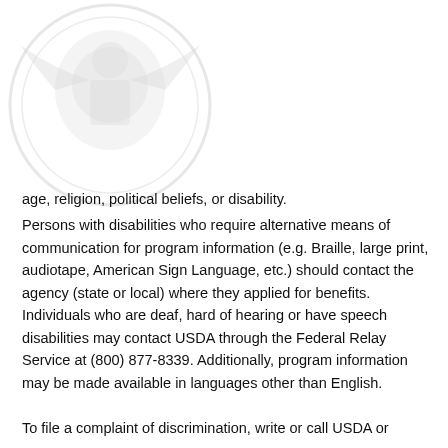[Figure (logo): Faded watermark/logo image in upper left corner, light gray circular USDA or government seal]
age, religion, political beliefs, or disability. Persons with disabilities who require alternative means of communication for program information (e.g. Braille, large print, audiotape, American Sign Language, etc.) should contact the agency (state or local) where they applied for benefits. Individuals who are deaf, hard of hearing or have speech disabilities may contact USDA through the Federal Relay Service at (800) 877-8339. Additionally, program information may be made available in languages other than English. To file a complaint of discrimination, write or call USDA or